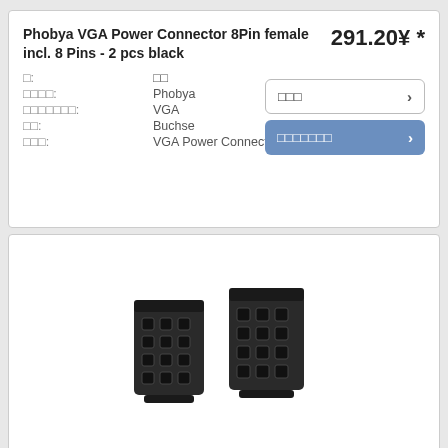Phobya VGA Power Connector 8Pin female incl. 8 Pins - 2 pcs black
291.20¥ *
□: □□
□□□□: Phobya
□□□□□□□: VGA
□□: Buchse
□□□: VGA Power Connector 8Pin
[Figure (photo): Two black 8-pin VGA power connectors side by side]
Phobya VGA Power Connector 8Pin male incl. 8 Pins - 2 pcs black
291.20¥ *